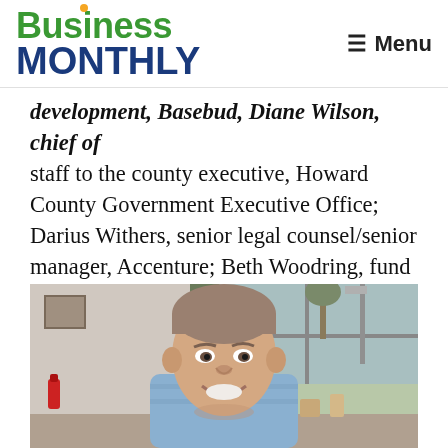Business Monthly — Menu
development, Basebud, Diane Wilson, chief of staff to the county executive, Howard County Government Executive Office; Darius Withers, senior legal counsel/senior manager, Accenture; Beth Woodring, fund manager, Howard County Economic Development Authority.
[Figure (photo): Portrait photo of a middle-aged man with short grey-brown hair, smiling, seated indoors near a large window with trees visible outside.]